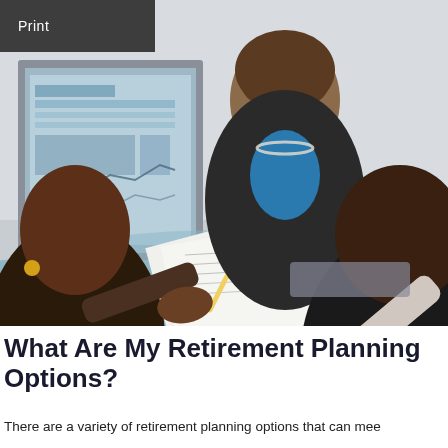Print
[Figure (photo): A financial advisor, a woman in a black blazer and blue top with a pearl necklace, leaning over a desk pointing at documents. Two clients sit across from her. A computer monitor showing financial charts is visible in the background.]
What Are My Retirement Planning Options?
There are a variety of retirement planning options that can mee